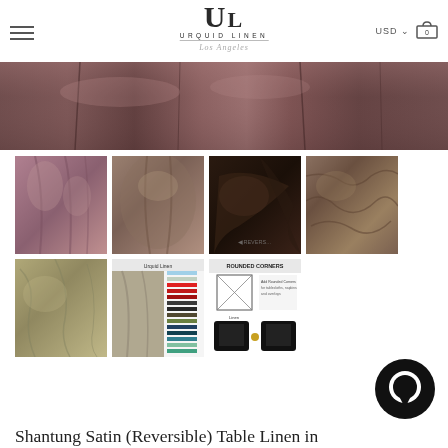Urquid Linen - Los Angeles | USD | Cart
[Figure (photo): Close-up banner of shantung satin fabric in mauve/taupe tone with light reflections]
[Figure (photo): Grid of product thumbnail images: mauve satin tablecloth, taupe shantung round tablecloth, dark brown fabric close-up, crinkled taupe fabric, beige/gold shantung fabric, color swatch chart, rounded corners info diagram]
[Figure (illustration): Black circular chat bubble icon in bottom right corner]
Shantung Satin (Reversible) Table Linen in